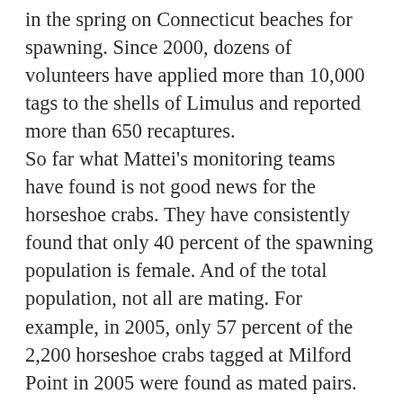in the spring on Connecticut beaches for spawning. Since 2000, dozens of volunteers have applied more than 10,000 tags to the shells of Limulus and reported more than 650 recaptures. So far what Mattei's monitoring teams have found is not good news for the horseshoe crabs. They have consistently found that only 40 percent of the spawning population is female. And of the total population, not all are mating. For example, in 2005, only 57 percent of the 2,200 horseshoe crabs tagged at Milford Point in 2005 were found as mated pairs. The monitoring reveals the potential for a declining population. It also shows that in 2005 only three pairs had one additional male as a potential mate nearby, pointing to another problem that could lead to a decline in the loss of genetic diversity. In Delaware Bay most females mate with